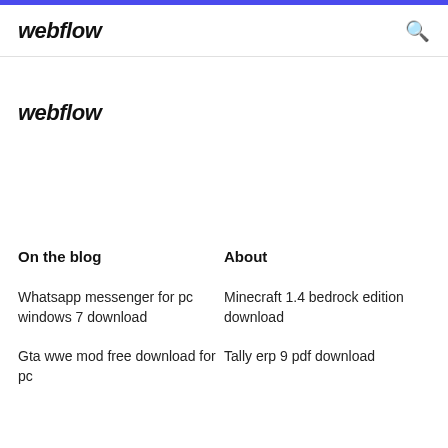webflow
webflow
On the blog
About
Whatsapp messenger for pc windows 7 download
Gta wwe mod free download for pc
Minecraft 1.4 bedrock edition download
Tally erp 9 pdf download